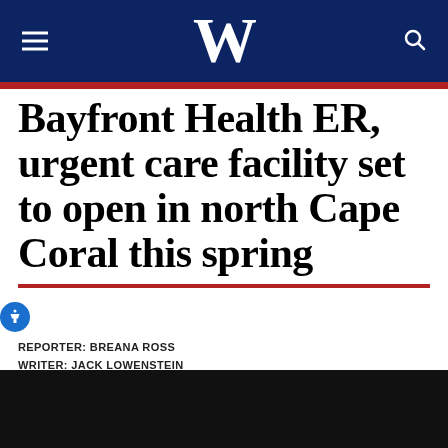W
Bayfront Health ER, urgent care facility set to open in north Cape Coral this spring
REPORTER: BREANA ROSS
WRITER: JACK LOWENSTEIN
PUBLISHED: FEBRUARY 5, 2021 10:17 PM EST
UPDATED: FEBRUARY 6, 2021 8:13 AM EST
[Figure (photo): Black image area at bottom of page]